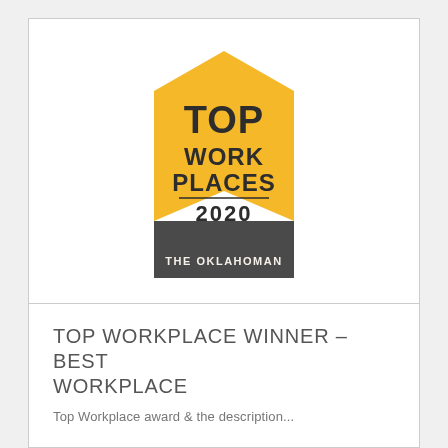[Figure (logo): Top Work Places 2020 badge/logo from The Oklahoman. Yellow pentagon/bookmark shape on top with bold black text reading TOP WORK PLACES 2020, and a dark grey triangular bottom section with text THE OKLAHOMAN.]
TOP WORKPLACE WINNER – BEST WORKPLACE
Top Workplace award & the description (partially visible)